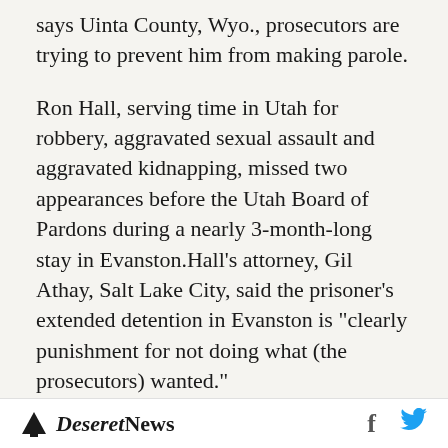says Uinta County, Wyo., prosecutors are trying to prevent him from making parole.
Ron Hall, serving time in Utah for robbery, aggravated sexual assault and aggravated kidnapping, missed two appearances before the Utah Board of Pardons during a nearly 3-month-long stay in Evanston.Hall's attorney, Gil Athay, Salt Lake City, said the prisoner's extended detention in Evanston is "clearly punishment for not doing what (the prosecutors) wanted."
County officials, however, denied the charges.
If Hall's chances for parole and his family life
Deseret News